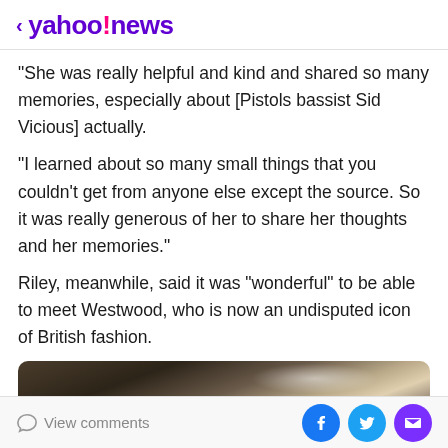yahoo!news
"She was really helpful and kind and shared so many memories, especially about [Pistols bassist Sid Vicious] actually.
"I learned about so many small things that you couldn't get from anyone else except the source. So it was really generous of her to share her thoughts and her memories."
Riley, meanwhile, said it was "wonderful" to be able to meet Westwood, who is now an undisputed icon of British fashion.
[Figure (photo): Dark cinematic image showing a person's head/hair from behind, dimly lit scene]
View comments | Social share buttons: Facebook, Twitter, Email